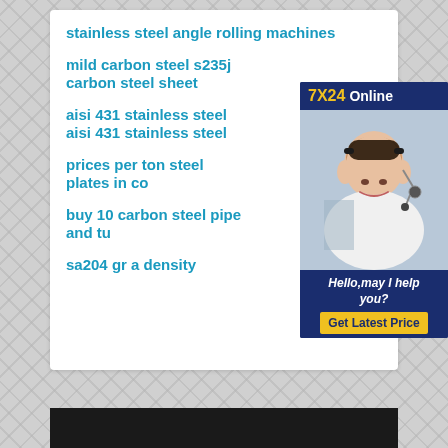stainless steel angle rolling machines
mild carbon steel s235j carbon steel sheet
aisi 431 stainless steel aisi 431 stainless steel
prices per ton steel plates in co…
buy 10 carbon steel pipe and tu…
sa204 gr a density
[Figure (photo): Customer service representative wearing headset, with 7X24 Online chat widget showing 'Hello, may I help you?' and 'Get Latest Price' button on dark blue background]